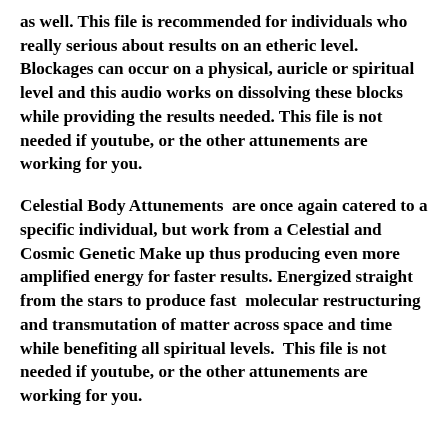as well. This file is recommended for individuals who really serious about results on an etheric level. Blockages can occur on a physical, auricle or spiritual level and this audio works on dissolving these blocks while providing the results needed. This file is not needed if youtube, or the other attunements are working for you.
Celestial Body Attunements are once again catered to a specific individual, but work from a Celestial and Cosmic Genetic Make up thus producing even more amplified energy for faster results. Energized straight from the stars to produce fast molecular restructuring and transmutation of matter across space and time while benefiting all spiritual levels. This file is not needed if youtube, or the other attunements are working for you.